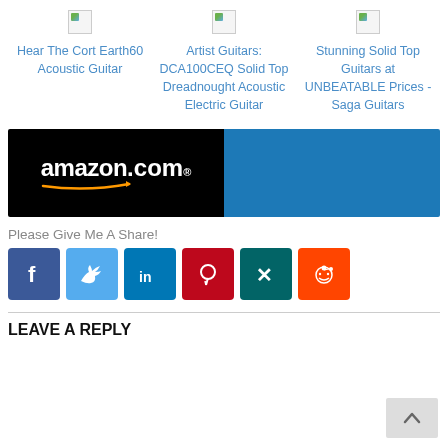[Figure (infographic): Three column layout with broken image icons and blue link text. Column 1: Hear The Cort Earth60 Acoustic Guitar. Column 2: Artist Guitars: DCA100CEQ Solid Top Dreadnought Acoustic Electric Guitar. Column 3: Stunning Solid Top Guitars at UNBEATABLE Prices - Saga Guitars.]
[Figure (logo): Amazon.com banner ad split: left black background with amazon.com logo and orange arrow, right solid blue background.]
Please Give Me A Share!
[Figure (infographic): Social share buttons row: Facebook, Twitter, LinkedIn, Pinterest, Xing, Reddit]
LEAVE A REPLY